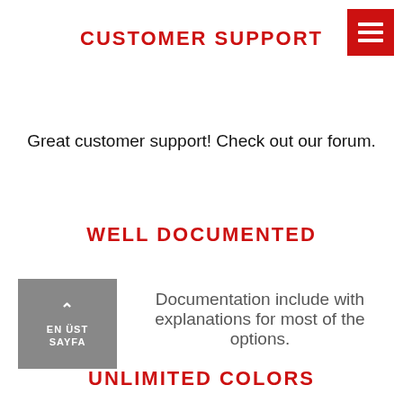CUSTOMER SUPPORT
[Figure (illustration): Red square hamburger menu icon with three white horizontal lines, positioned in top-right corner]
Great customer support! Check out our forum.
WELL DOCUMENTED
[Figure (illustration): Gray square badge with upward arrow and text EN ÜST SAYFA]
Documentation include with explanations for most of the options.
UNLIMITED COLORS